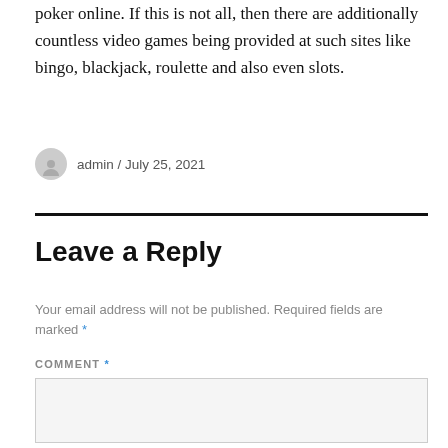poker online. If this is not all, then there are additionally countless video games being provided at such sites like bingo, blackjack, roulette and also even slots.
admin / July 25, 2021
Leave a Reply
Your email address will not be published. Required fields are marked *
COMMENT *